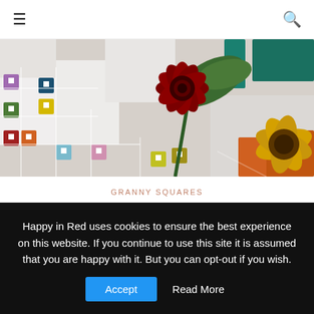☰  🔍
[Figure (photo): A colorful granny square crochet blanket/pillowcase with vibrant multicolored squares in white, teal, red, yellow, orange, purple, and green, with a dark red gerbera daisy flower and green leaves in front.]
GRANNY SQUARES
GRANNY SQUARE PILLOWCASE
written by Esther | Happy In Red  |  May 30, 2012
Happy in Red uses cookies to ensure the best experience on this website. If you continue to use this site it is assumed that you are happy with it. But you can opt-out if you wish.  Accept  Read More